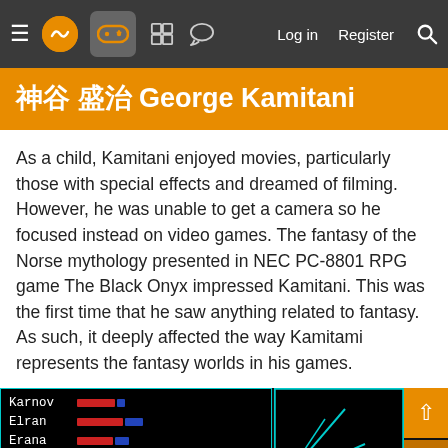Navigation bar with menu, logo, games icon, grid icon, chat icon, Log in, Register, Search
神谷 盛治 George Kamitani
As a child, Kamitani enjoyed movies, particularly those with special effects and dreamed of filming. However, he was unable to get a camera so he focused instead on video games. The fantasy of the Norse mythology presented in NEC PC-8801 RPG game The Black Onyx impressed Kamitani. This was the first time that he saw anything related to fantasy. As such, it deeply affected the way Kamitami represents the fantasy worlds in his games.
[Figure (screenshot): Retro video game screenshot showing a character list (Karnov, Elran, Erana, Zurnan, Wesson) with HP/MP bars on the left, a dungeon map on the top right, navigation arrows on the far right, and sprite characters at the bottom.]